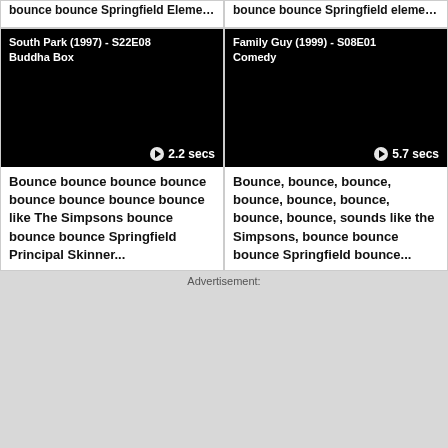bounce bounce Springfield Elementary Principal Skinner...
bounce bounce Springfield elementary Principal Skinner...
[Figure (screenshot): South Park (1997) - S22E08 Buddha Box video thumbnail, black screen, 2.2 secs]
[Figure (screenshot): Family Guy (1999) - S08E01 Comedy video thumbnail, black screen, 5.7 secs]
Bounce bounce bounce bounce bounce bounce bounce bounce like The Simpsons bounce bounce bounce Springfield Principal Skinner...
Bounce, bounce, bounce, bounce, bounce, bounce, bounce, bounce, sounds like the Simpsons, bounce bounce bounce Springfield bounce...
Advertisement: